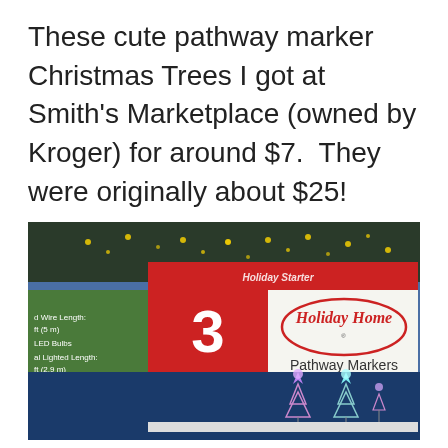These cute pathway marker Christmas Trees I got at Smith's Marketplace (owned by Kroger) for around $7.  They were originally about $25!
[Figure (photo): Photo of a Holiday Home Pathway Markers product box showing '3 Multicolor Trees' with Christmas tree pathway markers visible. Box features red and white colors with oval Holiday Home logo. Left side of box shows green panel with product specs: Wire Length ft (5 m), LED Bulbs, Total Lighted Length ft (2.9 m), Transparent Wire, Indoor/Outdoor, Includes 1 Yard Decor.]